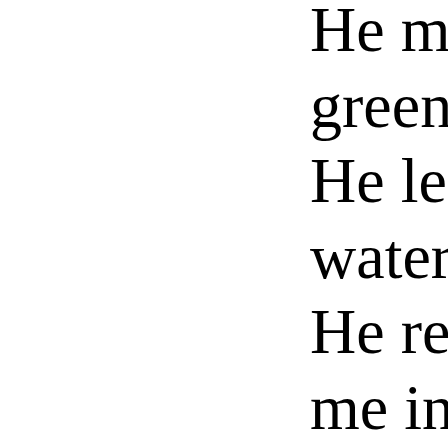He maketh me to lie down in green pastures: He leadeth me beside the still waters. He restoreth my soul: he leadeth me in the paths of righteousness for his name's sake, Yea, though I walk through the valley of the shadow of death,